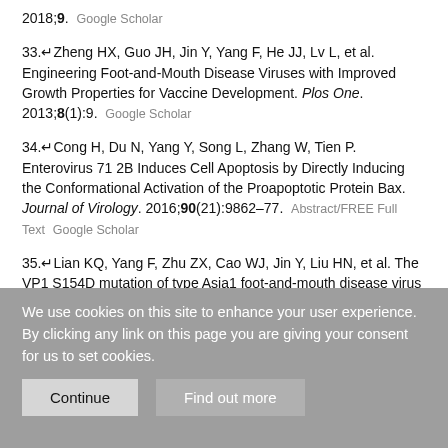2018;9.  Google Scholar
33. Zheng HX, Guo JH, Jin Y, Yang F, He JJ, Lv L, et al. Engineering Foot-and-Mouth Disease Viruses with Improved Growth Properties for Vaccine Development. Plos One. 2013;8(1):9.  Google Scholar
34. Cong H, Du N, Yang Y, Song L, Zhang W, Tien P. Enterovirus 71 2B Induces Cell Apoptosis by Directly Inducing the Conformational Activation of the Proapoptotic Protein Bax. Journal of Virology. 2016;90(21):9862–77.  Abstract/FREE Full Text  Google Scholar
35. Lian KQ, Yang F, Zhu ZX, Cao WJ, Jin Y, Liu HN, et al. The VP1 S154D mutation of type Asia1 foot-and-mouth disease virus enhances viral replication and pathogenicity. Infect Genet Evol. 2016;39:113–9.  CrossRef  Google Scholar
36. Reid SM, Ferris NP, Hutchings GH, Zhang Z, Belsham GJ,
We use cookies on this site to enhance your user experience. By clicking any link on this page you are giving your consent for us to set cookies.